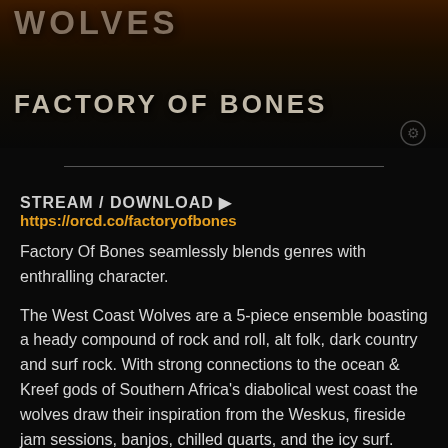[Figure (photo): Dark promotional image for West Coast Wolves band album 'Factory Of Bones' showing stylized text on dark background]
STREAM / DOWNLOAD ▶ https://orcd.co/factoryofbones
Factory Of Bones seamlessly blends genres with enthralling character.
The West Coast Wolves are a 5-piece ensemble boasting a heady compound of rock and roll, alt folk, dark country and surf rock. With strong connections to the ocean & Kreef gods of Southern Africa's diabolical west coast the wolves draw their inspiration from the Weskus, fireside jam sessions, banjos, chilled quarts, and the icy surf. Excited as they were